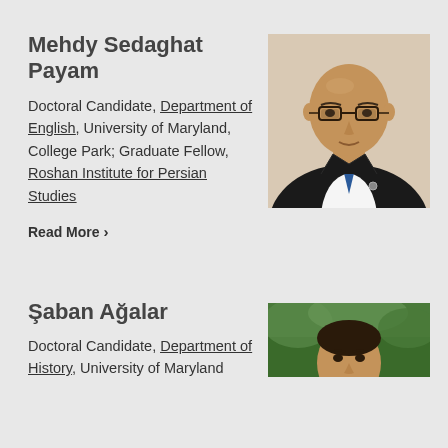Mehdy Sedaghat Payam
Doctoral Candidate, Department of English, University of Maryland, College Park; Graduate Fellow, Roshan Institute for Persian Studies
Read More
[Figure (photo): Professional headshot of Mehdy Sedaghat Payam, a bald man wearing glasses and a dark suit with a blue tie, against a beige background]
Şaban Ağalar
Doctoral Candidate, Department of History, University of Maryland
[Figure (photo): Partial photo of Şaban Ağalar, showing face with outdoor greenery background]